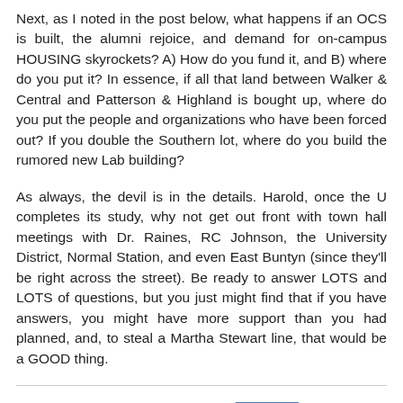Next, as I noted in the post below, what happens if an OCS is built, the alumni rejoice, and demand for on-campus HOUSING skyrockets? A) How do you fund it, and B) where do you put it? In essence, if all that land between Walker & Central and Patterson & Highland is bought up, where do you put the people and organizations who have been forced out? If you double the Southern lot, where do you build the rumored new Lab building?
As always, the devil is in the details. Harold, once the U completes its study, why not get out front with town hall meetings with Dr. Raines, RC Johnson, the University District, Normal Station, and even East Buntyn (since they'll be right across the street). Be ready to answer LOTS and LOTS of questions, but you just might find that if you have answers, you might have more support than you had planned, and, to steal a Martha Stewart line, that would be a GOOD thing.
Steve Steffens at 5:32 PM   3 comments: